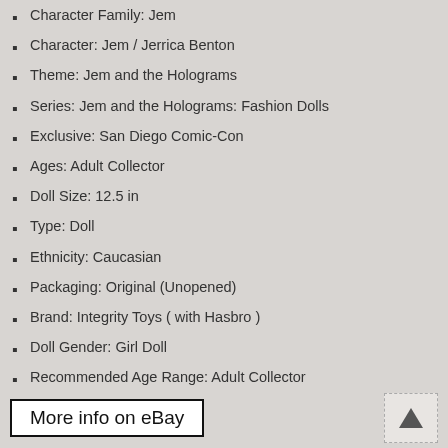Character Family: Jem
Character: Jem / Jerrica Benton
Theme: Jem and the Holograms
Series: Jem and the Holograms: Fashion Dolls
Exclusive: San Diego Comic-Con
Ages: Adult Collector
Doll Size: 12.5 in
Type: Doll
Ethnicity: Caucasian
Packaging: Original (Unopened)
Brand: Integrity Toys ( with Hasbro )
Doll Gender: Girl Doll
Recommended Age Range: Adult Collector
Product Type: Doll(s) with Clothing/Accessories
Size: 12.5"
Year: 2014
More info on eBay